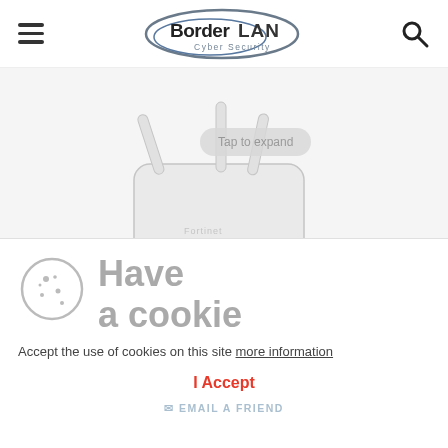BorderLAN Cyber Security
[Figure (photo): Outdoor wireless access point device (light gray, flat rectangular unit with antennas) mounted on a bracket, photographed on a white background. The image is partially overlaid by a cookie consent banner. A 'FortiAB-232E' label is visible faintly on the image.]
Have a cookie
Accept the use of cookies on this site more information
I Accept
EMAIL A FRIEND